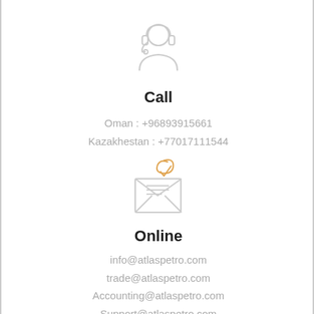[Figure (illustration): Headset/customer support icon in light gray outline style]
Call
Oman : +96893915661
Kazakhestan : +77017111544
[Figure (illustration): Open envelope with letter icon in light gray outline, with orange/gold decorative swirl element]
Online
info@atlaspetro.com
trade@atlaspetro.com
Accounting@atlaspetro.com
Support@atlaspetro.com